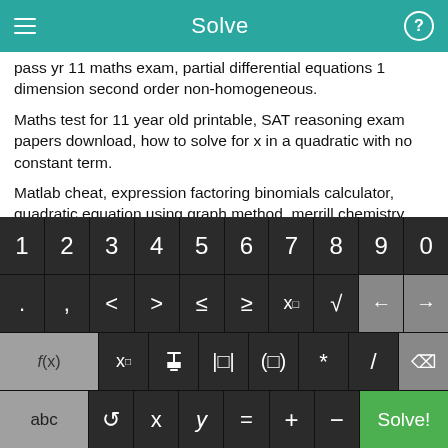Solve
pass yr 11 maths exam, partial differential equations 1 dimension second order non-homogeneous.
Maths test for 11 year old printable, SAT reasoning exam papers download, how to solve for x in a quadratic with no constant term.
Matlab cheat, expression factoring binomials calculator, quadratic equation using graph method, merrill chemistry study guide answers in 1998.
[Figure (screenshot): Mobile calculator keyboard with numeric keys 1-9, 0, mathematical symbols including <, >, ≤, ≥, x^□, √, arrow keys, f(x), subscript x, fraction, absolute value, parentheses, *, /, backspace, abc, rotation, x, y, =, +, -, and Solve! button in green.]